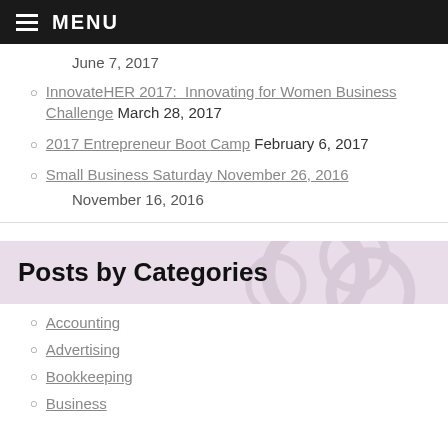MENU
June 7, 2017
InnovateHER 2017: Innovating for Women Business Challenge March 28, 2017
2017 Entrepreneur Boot Camp February 6, 2017
Small Business Saturday November 26, 2016
November 16, 2016
Posts by Categories
Accounting
Advertising
Bookkeeping
Business